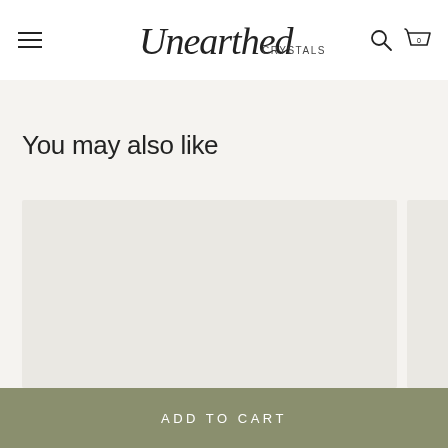Unearthed Crystals — navigation header with hamburger menu, logo, search and cart icons
You may also like
[Figure (photo): Two product image cards side by side on a light beige/grey background. Left card is nearly full width and cropped on right, right card is partially visible. Both cards are empty placeholder rectangles with a warm grey tone.]
ADD TO CART